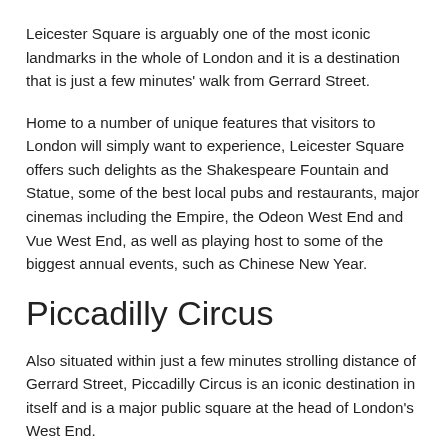Leicester Square is arguably one of the most iconic landmarks in the whole of London and it is a destination that is just a few minutes' walk from Gerrard Street.
Home to a number of unique features that visitors to London will simply want to experience, Leicester Square offers such delights as the Shakespeare Fountain and Statue, some of the best local pubs and restaurants, major cinemas including the Empire, the Odeon West End and Vue West End, as well as playing host to some of the biggest annual events, such as Chinese New Year.
Piccadilly Circus
Also situated within just a few minutes strolling distance of Gerrard Street, Piccadilly Circus is an iconic destination in itself and is a major public square at the head of London's West End.